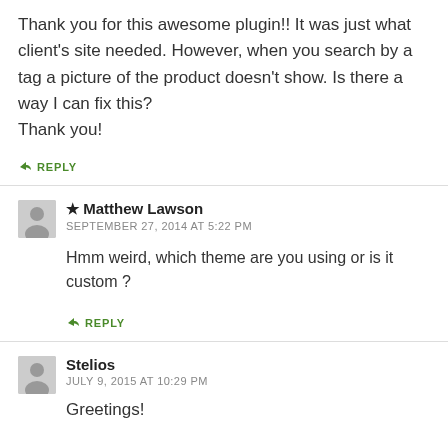Thank you for this awesome plugin!! It was just what client's site needed. However, when you search by a tag a picture of the product doesn't show. Is there a way I can fix this?
Thank you!
↳ REPLY
★ Matthew Lawson
SEPTEMBER 27, 2014 AT 5:22 PM
Hmm weird, which theme are you using or is it custom ?
↳ REPLY
Stelios
JULY 9, 2015 AT 10:29 PM
Greetings!